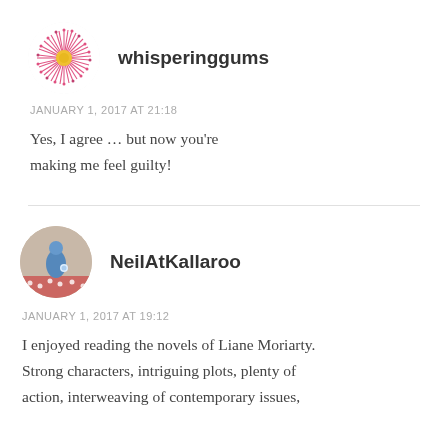[Figure (photo): Circular avatar photo of a pink spiky flower (bottlebrush) with a yellow centre on a white background]
whisperinggums
JANUARY 1, 2017 AT 21:18
Yes, I agree … but now you're making me feel guilty!
[Figure (photo): Circular avatar photo of a blue figurine/ornament on a decorative surface]
NeilAtKallaroo
JANUARY 1, 2017 AT 19:12
I enjoyed reading the novels of Liane Moriarty. Strong characters, intriguing plots, plenty of action, interweaving of contemporary issues,